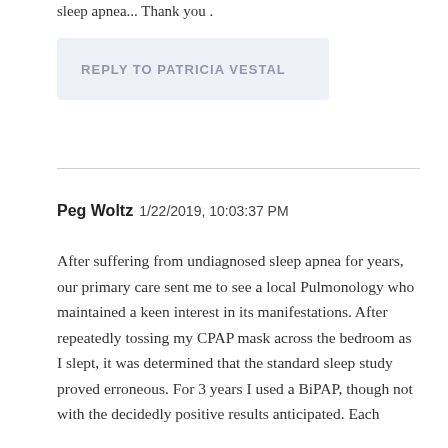sleep apnea... Thank you .
REPLY TO PATRICIA VESTAL
Peg Woltz 1/22/2019, 10:03:37 PM
After suffering from undiagnosed sleep apnea for years, our primary care sent me to see a local Pulmonology who maintained a keen interest in its manifestations. After repeatedly tossing my CPAP mask across the bedroom as I slept, it was determined that the standard sleep study proved erroneous. For 3 years I used a BiPAP, though not with the decidedly positive results anticipated. Each